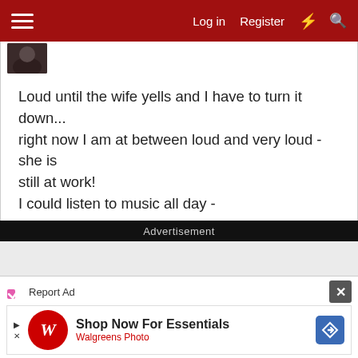Log in   Register
[Figure (photo): User avatar image showing a dark profile picture thumbnail]
Loud until the wife yells and I have to turn it down... right now I am at between loud and very loud - she is still at work!
I could listen to music all day -
Advertisement
[Figure (other): Grey advertisement placeholder area]
Report Ad
[Figure (infographic): Walgreens Photo advertisement banner: Shop Now For Essentials - Walgreens Photo]